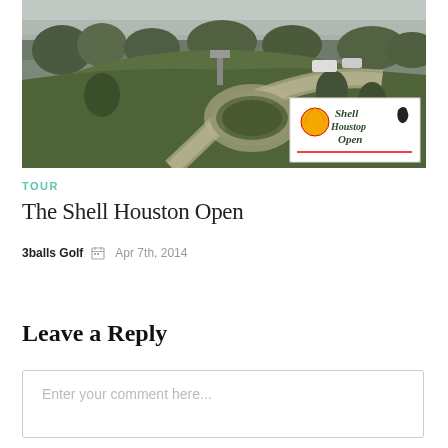[Figure (photo): Aerial view of a golf course with winding paths, green fairways, trees in background, and a Shell Houston Open logo/sign in the lower right corner]
TOUR
The Shell Houston Open
3balls Golf  Apr 7th, 2014
Leave a Reply
Enter your comment here...